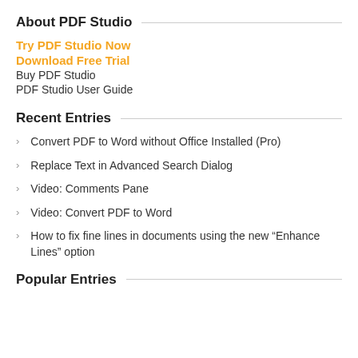About PDF Studio
Try PDF Studio Now
Download Free Trial
Buy PDF Studio
PDF Studio User Guide
Recent Entries
Convert PDF to Word without Office Installed (Pro)
Replace Text in Advanced Search Dialog
Video: Comments Pane
Video: Convert PDF to Word
How to fix fine lines in documents using the new “Enhance Lines” option
Popular Entries